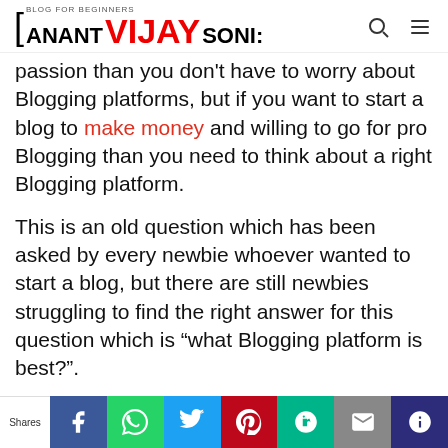BLOG FOR BEGINNERS ANANT VIJAY SONI
passion than you don't have to worry about Blogging platforms, but if you want to start a blog to make money and willing to go for pro Blogging than you need to think about a right Blogging platform.
This is an old question which has been asked by every newbie whoever wanted to start a blog, but there are still newbies struggling to find the right answer for this question which is “what Blogging platform is best?”.
There are many popular Blogging platforms available such as WordPress.com, Blogger, Joomla, Tumblr,
Shares | Facebook | WhatsApp | Twitter | Pinterest | ? | Email | Crown